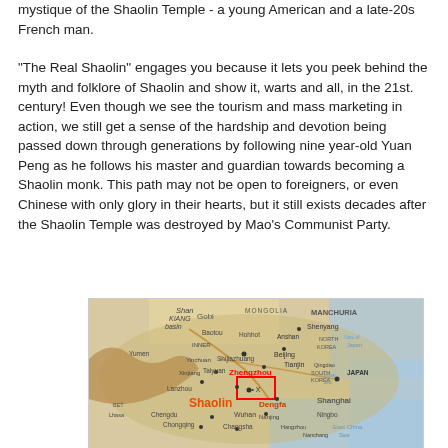mystique of the Shaolin Temple - a young American and a late-20s French man.
"The Real Shaolin" engages you because it lets you peek behind the myth and folklore of Shaolin and show it, warts and all, in the 21st. century! Even though we see the tourism and mass marketing in action, we still get a sense of the hardship and devotion being passed down through generations by following nine year-old Yuan Peng as he follows his master and guardian towards becoming a Shaolin monk. This path may not be open to foreigners, or even Chinese with only glory in their hearts, but it still exists decades after the Shaolin Temple was destroyed by Mao's Communist Party.
[Figure (map): Map of China showing the location of Shaolin, with labels for regions including Gobi, Mongolia, Manchuria, Beijing, Tianjin, Zhengzhou, Shaolin, Shanghai, Wuhan, Chongqing, Chengdu, and surrounding areas. A red rectangle marks the Shaolin/Zhengzhou region.]